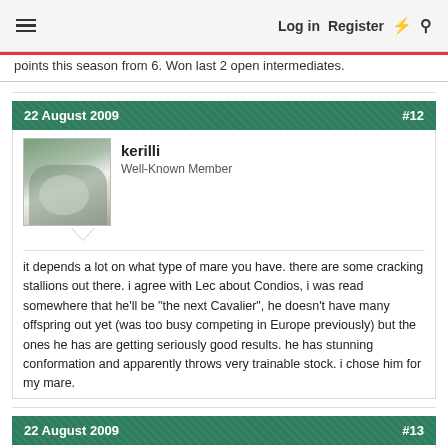Log in  Register
points this season from 6. Won last 2 open intermediates.
22 August 2009  #12
kerilli
Well-Known Member
it depends a lot on what type of mare you have. there are some cracking stallions out there. i agree with Lec about Condios, i was read somewhere that he'll be "the next Cavalier", he doesn't have many offspring out yet (was too busy competing in Europe previously) but the ones he has are getting seriously good results. he has stunning conformation and apparently throws very trainable stock. i chose him for my mare.
22 August 2009  #13
magic104